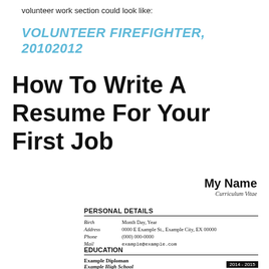volunteer work section could look like:
VOLUNTEER FIREFIGHTER, 20102012
How To Write A Resume For Your First Job
My Name
Curriculum Vitae
PERSONAL DETAILS
| Birth | Month Day, Year |
| Address | 0000 E Example St., Example City, EX 00000 |
| Phone | (000) 000-0000 |
| Mail | example@example.com |
EDUCATION
| Example Diploman | 2014 - 2015 |
| Example High School |  |
| 3.7 GPA |  |